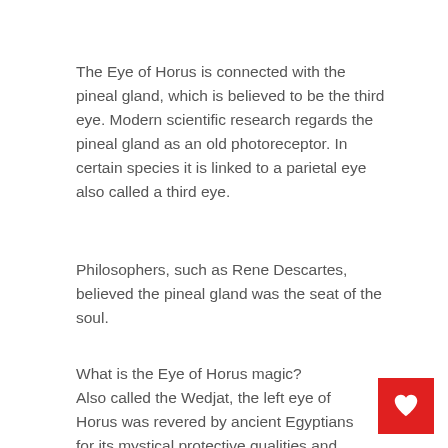The Eye of Horus is connected with the pineal gland, which is believed to be the third eye. Modern scientific research regards the pineal gland as an old photoreceptor. In certain species it is linked to a parietal eye also called a third eye.
Philosophers, such as Rene Descartes, believed the pineal gland was the seat of the soul.
What is the Eye of Horus magic? Also called the Wedjat, the left eye of Horus was revered by ancient Egyptians for its mystical protective qualities and